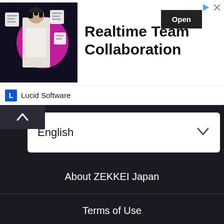[Figure (screenshot): Advertisement banner for Lucid Software featuring a dark-themed image of a person with floating document icons and a pink circle graphic on the left. Text reads 'Realtime Team Collaboration' with an 'Open' button. Footer shows Lucid Software logo and name.]
English
About ZEKKEI Japan
Terms of Use
Copyright
Privacy Policy
Contact